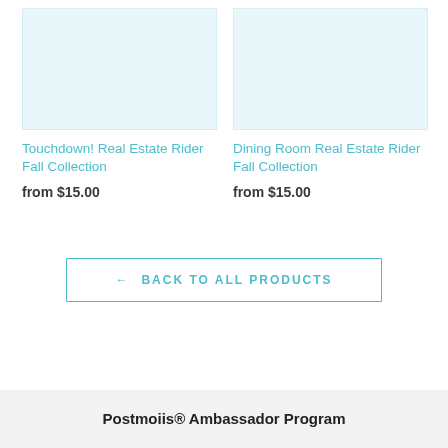[Figure (photo): Product image placeholder for Touchdown! Real Estate Rider Fall Collection — light blue/teal tinted rectangle]
Touchdown! Real Estate Rider Fall Collection
from $15.00
[Figure (photo): Product image placeholder for Dining Room Real Estate Rider Fall Collection — light blue/teal tinted rectangle]
Dining Room Real Estate Rider Fall Collection
from $15.00
← BACK TO ALL PRODUCTS
Postmoiis® Ambassador Program